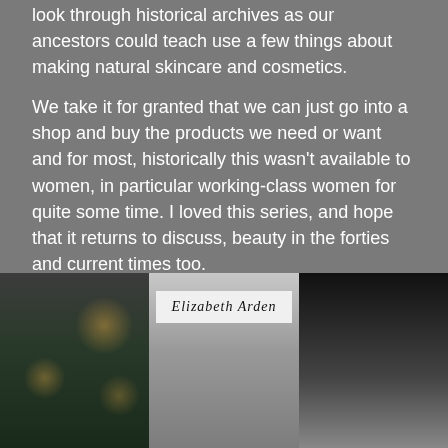look through historical archives as our ancestors could teach use a few things about making natural skincare and cosmetics.
We take it for granted that we can just go into a shop and buy the products we need or want and for most, historically this wasn't available to women, in particular working-class women for quite some time. I loved this series, and hope that it returns to discuss, beauty in the forties and current times too.
It's available to view on BBC iPlayer.
[Figure (photo): Three photos side by side: left shows a woman with dark hair in dark green clothing with bokeh lights; center shows a black-and-white image of an Elizabeth Arden storefront/sign; right shows a person with a vintage updo hairstyle and dramatic rouge makeup.]